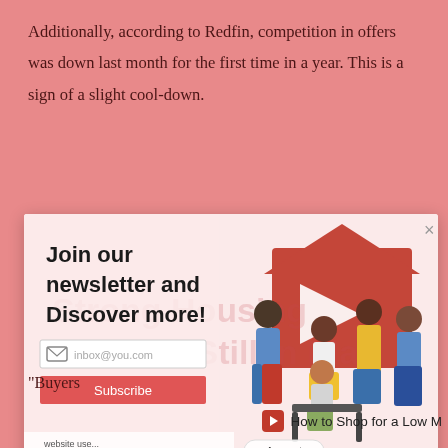Additionally, according to Redfin, competition in offers was down last month for the first time in a year. This is a sign of a slight cool-down.
[Figure (screenshot): A newsletter signup modal overlay on a pink/salmon background article page. The modal has a light pink background with bold text 'Join our newsletter and Discover more!' on the left, an email input field showing 'inbox@you.com', a red Subscribe button, and a decorative right panel showing a group of diverse people sitting/standing around a chair, with a large red geometric house/play-button logo shape in the background. A close (x) button is in the top right corner. Behind the modal, the article text 'Strong Housing Demand Still in Play' is faintly visible. Below the modal is a partially visible cookie consent bar with an Accept button.]
“Buyers
How to Shop for a Low M